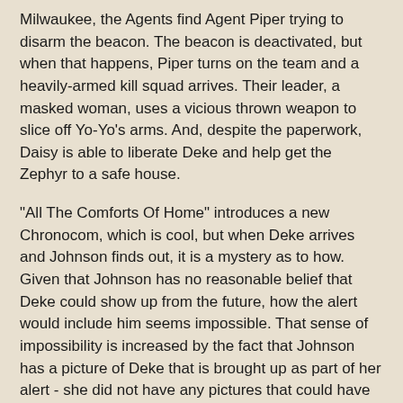Milwaukee, the Agents find Agent Piper trying to disarm the beacon. The beacon is deactivated, but when that happens, Piper turns on the team and a heavily-armed kill squad arrives. Their leader, a masked woman, uses a vicious thrown weapon to slice off Yo-Yo's arms. And, despite the paperwork, Daisy is able to liberate Deke and help get the Zephyr to a safe house.
"All The Comforts Of Home" introduces a new Chronocom, which is cool, but when Deke arrives and Johnson finds out, it is a mystery as to how. Given that Johnson has no reasonable belief that Deke could show up from the future, how the alert would include him seems impossible. That sense of impossibility is increased by the fact that Johnson has a picture of Deke that is brought up as part of her alert - she did not have any pictures that could have been matched by the terms of her alert. But the solution to her problem, Deke being in play in the past and getting arrested, shows a troublesome resolution. Rather than Johnson going into the field, she could have sent the Enoch who would be native to this time. In other words, there is no reason for Johnson to go somewhere she might be recognized when there is